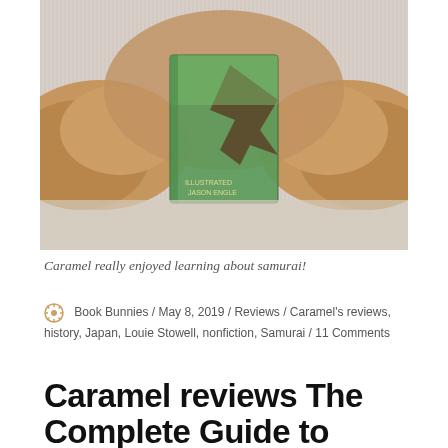[Figure (photo): A stuffed animal (caramel-colored bunny or bear) with a book about samurai on a carpet surface]
Caramel really enjoyed learning about samurai!
Book Bunnies / May 8, 2019 / Reviews / Caramel's reviews, history, Japan, Louie Stowell, nonfiction, Samurai / 11 Comments
Caramel reviews The Complete Guide to Dinosaurs and Prehistoric